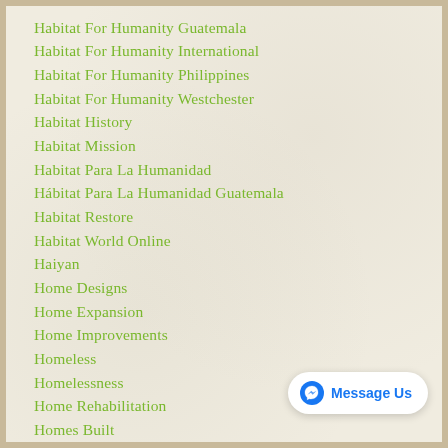Habitat For Humanity Guatemala
Habitat For Humanity International
Habitat For Humanity Philippines
Habitat For Humanity Westchester
Habitat History
Habitat Mission
Habitat Para La Humanidad
Hábitat Para La Humanidad Guatemala
Habitat Restore
Habitat World Online
Haiyan
Home Designs
Home Expansion
Home Improvements
Homeless
Homelessness
Home Rehabilitation
Homes Built
Hotel Modelo
Housing Solutions